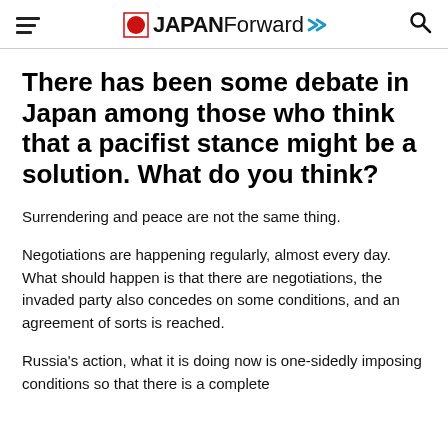JAPAN Forward
There has been some debate in Japan among those who think that a pacifist stance might be a solution. What do you think?
Surrendering and peace are not the same thing.
Negotiations are happening regularly, almost every day. What should happen is that there are negotiations, the invaded party also concedes on some conditions, and an agreement of sorts is reached.
Russia's action, what it is doing now is one-sidedly imposing conditions so that there is a complete